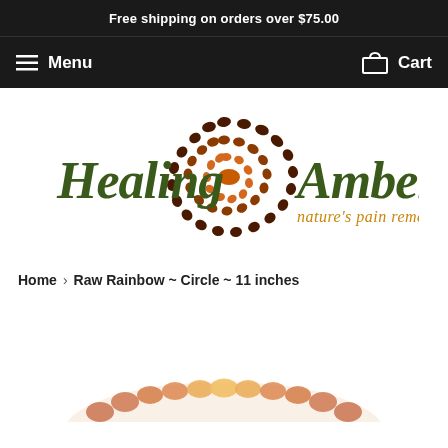Free shipping on orders over $75.00
Menu   Cart
[Figure (logo): Healing Amber logo with spiral of amber beads and text 'nature's pain remedy']
Home › Raw Rainbow ~ Circle ~ 11 inches
[Figure (photo): Partial photo of an amber bead bracelet/necklace at bottom of page]